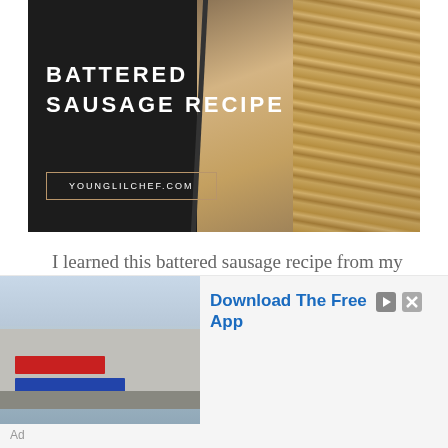[Figure (photo): Hero image for battered sausage recipe: left half dark background with recipe title text and website URL box; right half shows photo of fried food (battered sausage and chips/fries) on white paper]
I learned this battered sausage recipe from my mother last year. Trust me it was awesome. Let's not waste any more time with boring
[Figure (photo): Advertisement banner showing a commercial building (Firestone/Bridgestone store) with a 'Download The Free App' call to action in blue text, with play and close icons, labeled 'Ad' at bottom]